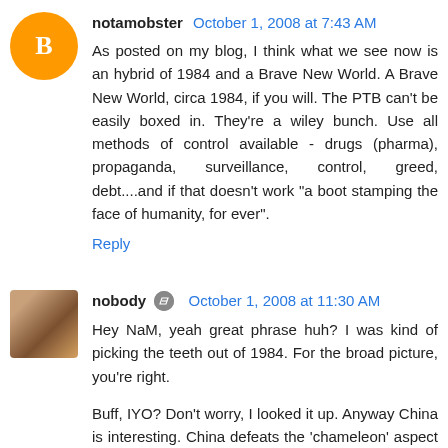notamobster  October 1, 2008 at 7:43 AM
As posted on my blog, I think what we see now is an hybrid of 1984 and a Brave New World. A Brave New World, circa 1984, if you will. The PTB can't be easily boxed in. They're a wiley bunch. Use all methods of control available - drugs (pharma), propaganda, surveillance, control, greed, debt....and if that doesn't work "a boot stamping the face of humanity, for ever".
Reply
nobody  October 1, 2008 at 11:30 AM
Hey NaM, yeah great phrase huh? I was kind of picking the teeth out of 1984. For the broad picture, you're right.
Buff, IYO? Don't worry, I looked it up. Anyway China is interesting. China defeats the 'chameleon' aspect of Jewish people. In the West they are never Jewish. Thus the mafia in Russia is 'Russian', Ari Ben Menashe is Canadian, and Michael Chertoff is American. And then there's Hollywood which is quintessentially American and yet, truth be known,